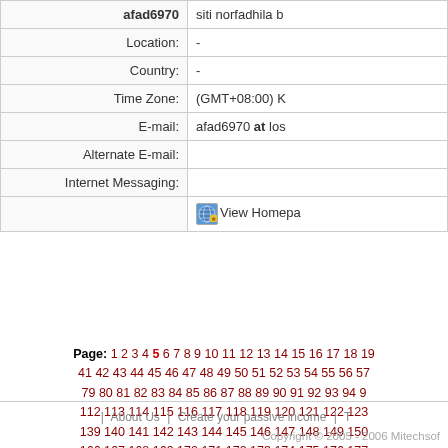| Label | Value |
| --- | --- |
| afad6970 | siti norfadhila b |
| Location: | - |
| Country: | - |
| Time Zone: | (GMT+08:00) K |
| E-mail: | afad6970 at los |
| Alternate E-mail: |  |
| Internet Messaging: |  |
|  | View Homepa |
Page: 1 2 3 4 5 6 7 8 9 10 11 12 13 14 15 16 17 18 19... 41 42 43 44 45 46 47 48 49 50 51 52 53 54 55 56 57... 79 80 81 82 83 84 85 86 87 88 89 90 91 92 93 94 9... 112 113 114 115 116 117 118 119 120 121 122 123... 139 140 141 142 143 144 145 146 147 148 149 150... 166 167 168 169 170 171 172 173 174 175 176 177... 193 194 195 196 197 198 199 200 201 202 203 204... 220 221 222 223 22...
About Us | Create your passive income | T... Copyright © 2005 - 2006 Mitechsof